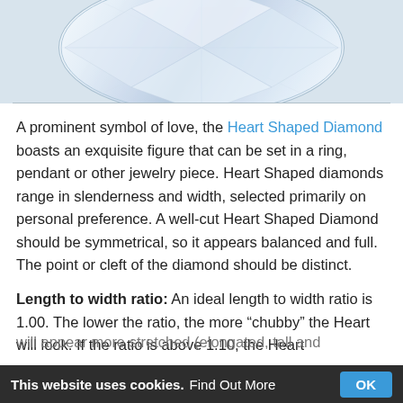[Figure (photo): Close-up photo of a heart-shaped diamond, showing facets and brilliance, partially cropped at top]
A prominent symbol of love, the Heart Shaped Diamond boasts an exquisite figure that can be set in a ring, pendant or other jewelry piece. Heart Shaped diamonds range in slenderness and width, selected primarily on personal preference. A well-cut Heart Shaped Diamond should be symmetrical, so it appears balanced and full. The point or cleft of the diamond should be distinct.
Length to width ratio: An ideal length to width ratio is 1.00. The lower the ratio, the more “chubby” the Heart will look. If the ratio is above 1.10, the Heart will appear more stretched (elongated, tall and
This website uses cookies. Find Out More OK